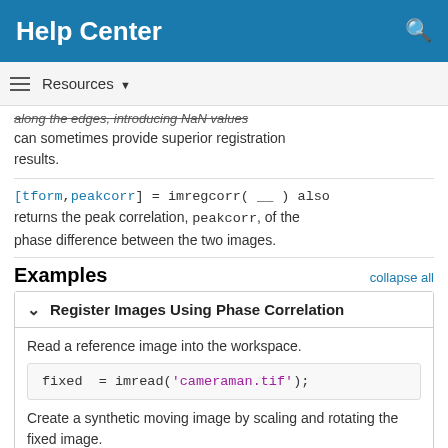Help Center
along the edges, introducing NaN values can sometimes provide superior registration results.
[tform,peakcorr] = imregcorr( __ ) also returns the peak correlation, peakcorr, of the phase difference between the two images.
Examples
collapse all
Register Images Using Phase Correlation
Read a reference image into the workspace.
fixed  = imread('cameraman.tif');
Create a synthetic moving image by scaling and rotating the fixed image.